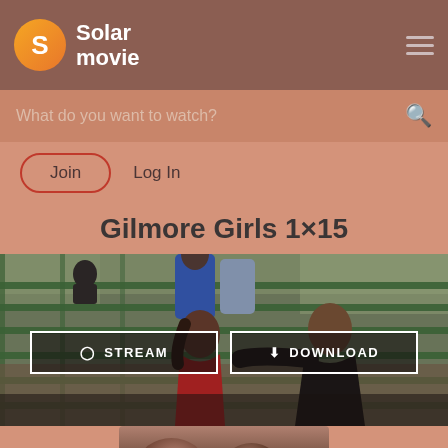Solar movie
What do you want to watch?
Join   Log In
Gilmore Girls 1×15
[Figure (screenshot): Scene from Gilmore Girls episode 1x15 showing people sitting on bleachers/benches outdoors. Two main figures in foreground – a young woman in red and a man in a dark leather jacket. Other people visible in background.]
STREAM   DOWNLOAD